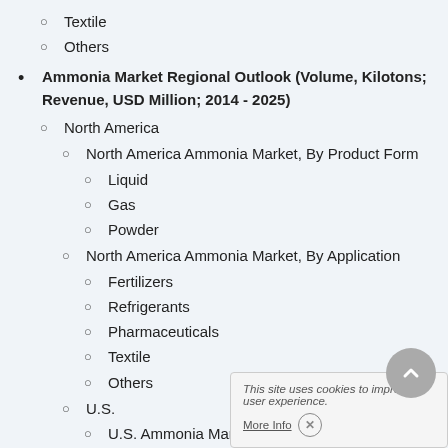Textile
Others
Ammonia Market Regional Outlook (Volume, Kilotons; Revenue, USD Million; 2014 - 2025)
North America
North America Ammonia Market, By Product Form
Liquid
Gas
Powder
North America Ammonia Market, By Application
Fertilizers
Refrigerants
Pharmaceuticals
Textile
Others
U.S.
U.S. Ammonia Market, By Product Form